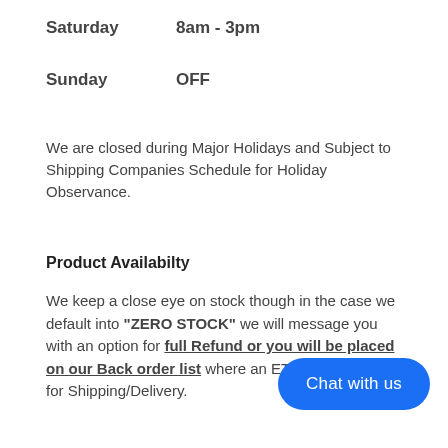Saturday    8am - 3pm
Sunday    OFF
We are closed during Major Holidays and Subject to Shipping Companies Schedule for Holiday Observance.
Product Availabilty
We keep a close eye on stock though in the case we default into "ZERO STOCK" we will message you with an option for full Refund or you will be placed on our Back order list where an ETA will be given for Shipping/Delivery.
[Figure (other): Blue rounded chat button with text 'Chat with us']